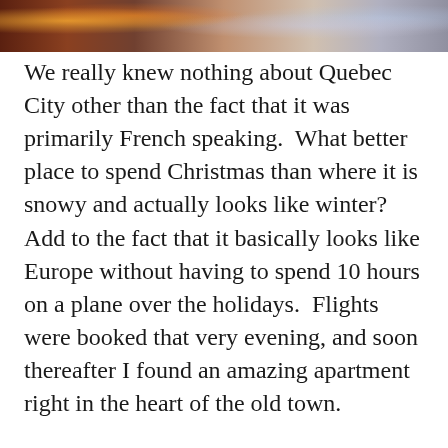[Figure (photo): Top banner photo strip showing a snowy winter Christmas scene with warm bokeh lights, figures in snow, festive colors.]
We really knew nothing about Quebec City other than the fact that it was primarily French speaking.  What better place to spend Christmas than where it is snowy and actually looks like winter?  Add to the fact that it basically looks like Europe without having to spend 10 hours on a plane over the holidays.  Flights were booked that very evening, and soon thereafter I found an amazing apartment right in the heart of the old town.
About a week before our scheduled departure, it became obvious that a rather nasty storm was imminent for the entire eastern seaboard of North America, and it wasn't exactly a snowy storm either.  Much rain was expected, which was going to wipe out within a matter of hours all of